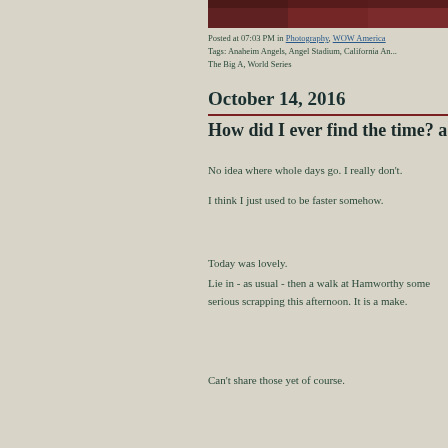[Figure (photo): Partial view of a photo strip at the top showing what appears to be a reddish/dark crowd or stadium scene]
Posted at 07:03 PM in Photography, WOW America
Tags: Anaheim Angels, Angel Stadium, California An...
The Big A, World Series
October 14, 2016
How did I ever find the time? a
No idea where whole days go. I really don't.
I think I just used to be faster somehow.
Today was lovely.
Lie in - as usual - then a walk at Hamworthy some serious scrapping this afternoon. It is a make.
Can't share those yet of course.